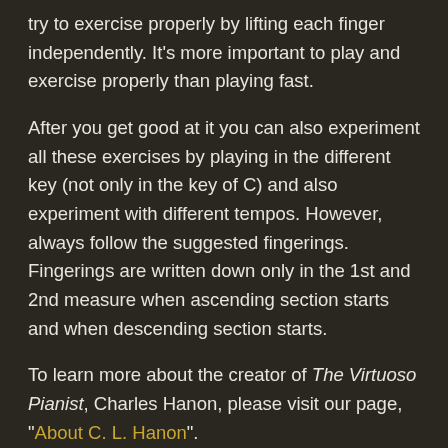try to exercise properly by lifting each finger independently. It's more important to play and exercise properly than playing fast.
After you get good at it you can also experiment all these exercises by playing in the different key (not only in the key of C) and also experiment with different tempos. However, always follow the suggested fingerings. Fingerings are written down only in the 1st and 2nd measure when ascending section starts and when descending section starts.
To learn more about the creator of The Virtuoso Pianist, Charles Hanon, please visit our page, "About C. L. Hanon".
About this sheet music and what it